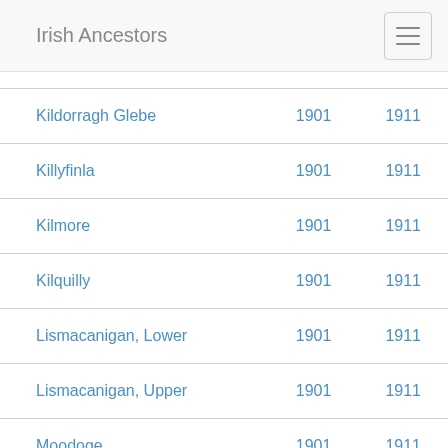Irish Ancestors
| Kildorragh Glebe | 1901 | 1911 |
| Killyfinla | 1901 | 1911 |
| Kilmore | 1901 | 1911 |
| Kilquilly | 1901 | 1911 |
| Lismacanigan, Lower | 1901 | 1911 |
| Lismacanigan, Upper | 1901 | 1911 |
| Moodoge | 1901 | 1911 |
| Mountprospect | 1901 | 1911 |